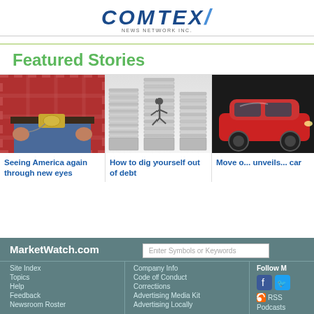COMTEX NEWS NETWORK INC.
Featured Stories
[Figure (photo): Close-up of a person in a plaid shirt and jeans with a decorative belt buckle]
Seeing America again through new eyes
[Figure (photo): Person climbing a tall stack of papers/documents]
How to dig yourself out of debt
[Figure (photo): Partial view of a red car]
Move o... unveils... car
MarketWatch.com | Site Index | Topics | Help | Feedback | Newsroom Roster | Company Info | Code of Conduct | Corrections | Advertising Media Kit | Advertising Locally | Follow M | RSS | Podcasts